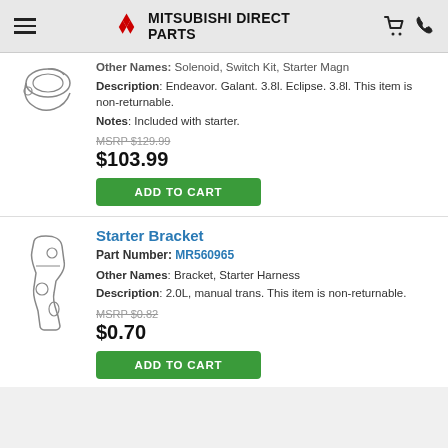MITSUBISHI DIRECT PARTS
Other Names: Solenoid, Switch Kit, Starter Magn
Description: Endeavor. Galant. 3.8l. Eclipse. 3.8l. This item is non-returnable.
Notes: Included with starter.
MSRP $129.99
$103.99
ADD TO CART
Starter Bracket
Part Number: MR560965
Other Names: Bracket, Starter Harness
Description: 2.0L, manual trans. This item is non-returnable.
MSRP $0.82
$0.70
ADD TO CART